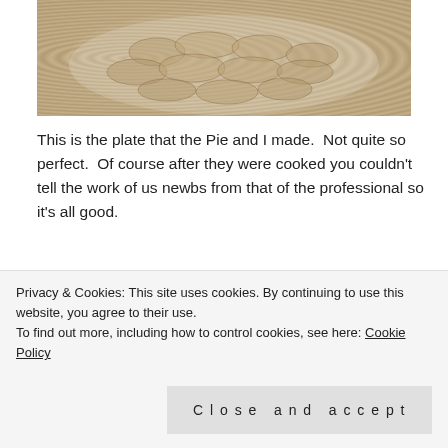[Figure (photo): A white plate with handmade dumplings/potstickers arranged on it, viewed from above]
This is the plate that the Pie and I made.  Not quite so perfect.  Of course after they were cooked you couldn't tell the work of us newbs from that of the professional so it's all good.
[Figure (photo): A darker photo of many dumplings arranged in rows on a surface, partially obscured by cookie banner]
Privacy & Cookies: This site uses cookies. By continuing to use this website, you agree to their use.
To find out more, including how to control cookies, see here: Cookie Policy
Close and accept